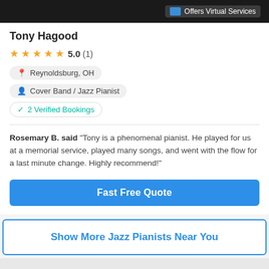[Figure (screenshot): Dark banner with blue icon and 'Offers Virtual Services' text]
Tony Hagood
★★★★★ 5.0 (1)
Reynoldsburg, OH
Cover Band / Jazz Pianist
2 Verified Bookings
Rosemary B. said "Tony is a phenomenal pianist. He played for us at a memorial service, played many songs, and went with the flow for a last minute change. Highly recommend!"
Fast Free Quote
Show More Jazz Pianists Near You